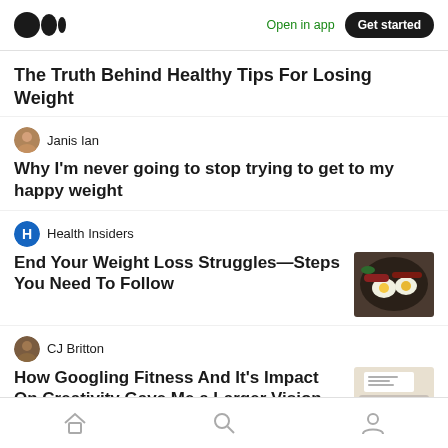Medium app header with logo, Open in app, Get started
The Truth Behind Healthy Tips For Losing Weight
Janis Ian
Why I'm never going to stop trying to get to my happy weight
Health Insiders
End Your Weight Loss Struggles—Steps You Need To Follow
[Figure (photo): Photo of a frying pan with eggs and food]
CJ Britton
How Googling Fitness And It's Impact On Creativity Gave Me a Larger Vision For How
[Figure (photo): Photo of a keyboard/computer]
Bottom navigation bar with home, search, and profile icons